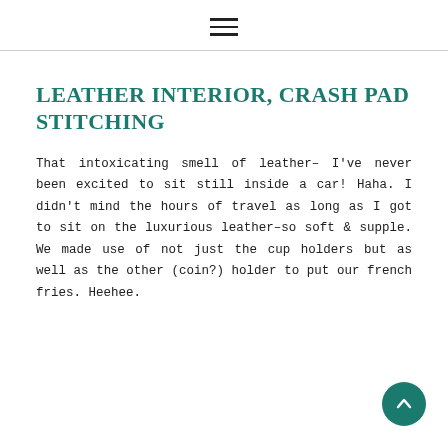☰
LEATHER INTERIOR, CRASH PAD STITCHING
That intoxicating smell of leather– I've never been excited to sit still inside a car! Haha. I didn't mind the hours of travel as long as I got to sit on the luxurious leather–so soft & supple. We made use of not just the cup holders but as well as the other (coin?) holder to put our french fries. Heehee.